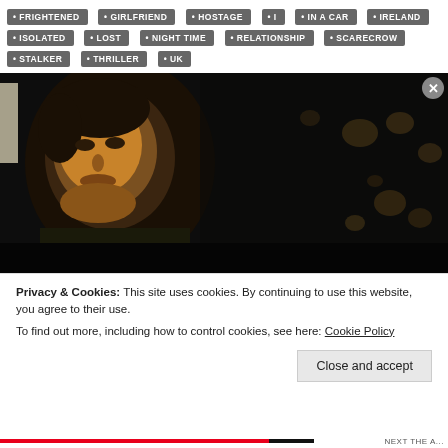FRIGHTENED
GIRLFRIEND
HOSTAGE
I
IN A CAR
IRELAND
ISOLATED
LOST
NIGHT TIME
RELATIONSHIP
SCARECROW
STALKER
THRILLER
UK
[Figure (photo): A man with a serious expression sitting in a car at night, with bokeh lights visible in the dark background. The image appears to be a movie still with a dark, moody atmosphere.]
Privacy & Cookies: This site uses cookies. By continuing to use this website, you agree to their use.
To find out more, including how to control cookies, see here: Cookie Policy
Close and accept